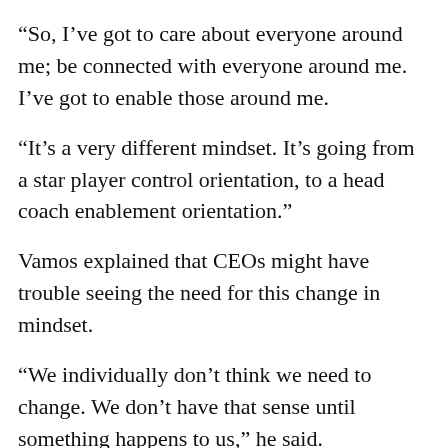“So, I’ve got to care about everyone around me; be connected with everyone around me. I’ve got to enable those around me.
“It’s a very different mindset. It’s going from a star player control orientation, to a head coach enablement orientation.”
Vamos explained that CEOs might have trouble seeing the need for this change in mindset.
“We individually don’t think we need to change. We don’t have that sense until something happens to us,” he said.
“Some people might wake up one day and read a book, others might get feedback and take that on board.
“So, a lot of progressive CEOs had experience outside